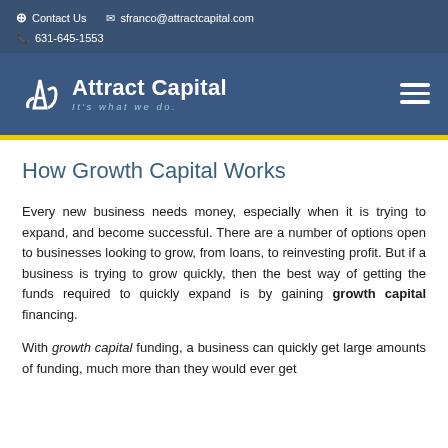Contact Us  sfranco@attractcapital.com  631-645-1553
[Figure (logo): Attract Capital logo with tagline 'It's what we do.' and hamburger menu icon]
How Growth Capital Works
Every new business needs money, especially when it is trying to expand, and become successful. There are a number of options open to businesses looking to grow, from loans, to reinvesting profit. But if a business is trying to grow quickly, then the best way of getting the funds required to quickly expand is by gaining growth capital financing.
With growth capital funding, a business can quickly get large amounts of funding, much more than they would ever get from other sources of funding.